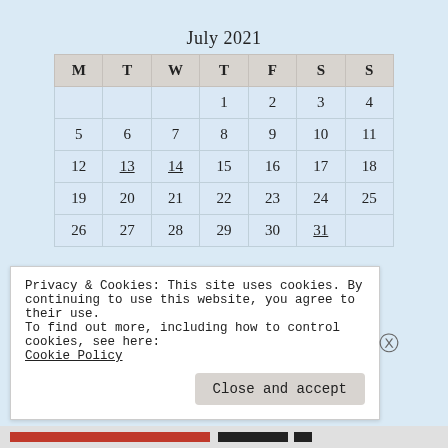July 2021
| M | T | W | T | F | S | S |
| --- | --- | --- | --- | --- | --- | --- |
|  |  |  | 1 | 2 | 3 | 4 |
| 5 | 6 | 7 | 8 | 9 | 10 | 11 |
| 12 | 13 | 14 | 15 | 16 | 17 | 18 |
| 19 | 20 | 21 | 22 | 23 | 24 | 25 |
| 26 | 27 | 28 | 29 | 30 | 31 |  |
Aug »
Privacy & Cookies: This site uses cookies. By continuing to use this website, you agree to their use.
To find out more, including how to control cookies, see here:
Cookie Policy
Close and accept